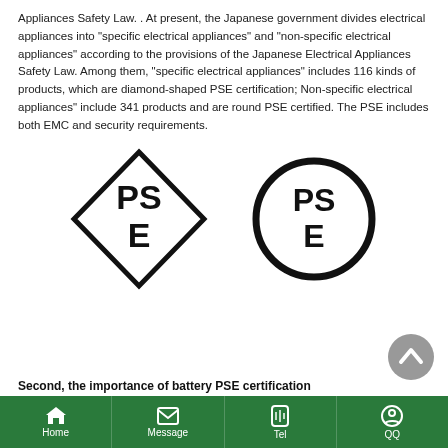Appliances Safety Law. . At present, the Japanese government divides electrical appliances into "specific electrical appliances" and "non-specific electrical appliances" according to the provisions of the Japanese Electrical Appliances Safety Law. Among them, "specific electrical appliances" includes 116 kinds of products, which are diamond-shaped PSE certification; Non-specific electrical appliances" include 341 products and are round PSE certified. The PSE includes both EMC and security requirements.
[Figure (logo): Two PSE certification logos: left is a diamond-shaped PSE mark (for specific electrical appliances), right is a circular PSE mark (for non-specific electrical appliances). Both show the letters PS on top line and E on bottom line inside their respective shapes.]
Second, the importance of battery PSE certification
Home  Message  Tel  QQ